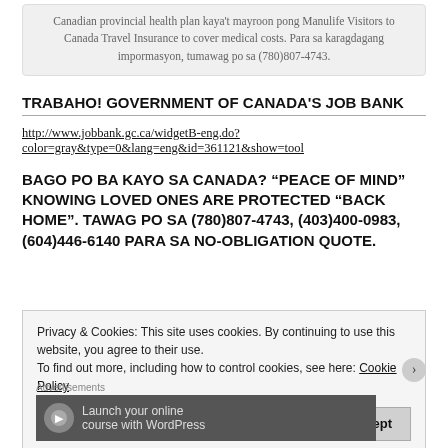Canadian provincial health plan kaya't mayroon pong Manulife Visitors to Canada Travel Insurance to cover medical costs. Para sa karagdagang impormasyon, tumawag po sa (780)807-4743.
TRABAHO! GOVERNMENT OF CANADA'S JOB BANK
http://www.jobbank.gc.ca/widgetB-eng.do?color=gray&type=0&lang=eng&id=361121&show=tool
BAGO PO BA KAYO SA CANADA? “PEACE OF MIND” KNOWING LOVED ONES ARE PROTECTED “BACK HOME”. TAWAG PO SA (780)807-4743, (403)400-0983, (604)446-6140 PARA SA NO-OBLIGATION QUOTE.
Privacy & Cookies: This site uses cookies. By continuing to use this website, you agree to their use.
To find out more, including how to control cookies, see here: Cookie Policy
Close and accept
Advertisements
Launch your online course with WordPress